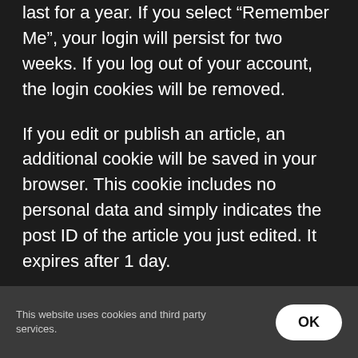last for a year. If you select “Remember Me”, your login will persist for two weeks. If you log out of your account, the login cookies will be removed.
If you edit or publish an article, an additional cookie will be saved in your browser. This cookie includes no personal data and simply indicates the post ID of the article you just edited. It expires after 1 day.
EMBEDDED CONTENT FROM OTHER WEBSITES
This website uses cookies and third party services.
OK